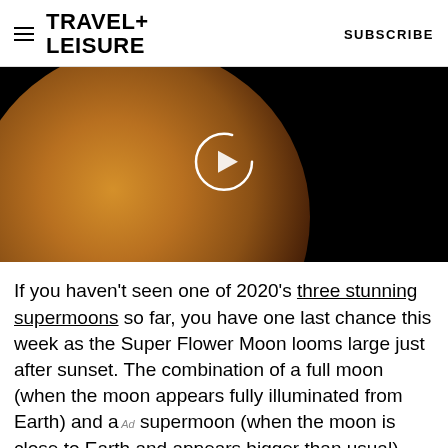TRAVEL+ LEISURE   SUBSCRIBE
[Figure (photo): Video thumbnail showing a large orange-brown moon against a black background, with a circular play button icon overlay in the center]
If you haven't seen one of 2020's three stunning supermoons so far, you have one last chance this week as the Super Flower Moon looms large just after sunset. The combination of a full moon (when the moon appears fully illuminated from Earth) and a supermoon (when the moon is close to Earth and appears bigger than usual) promises to be an